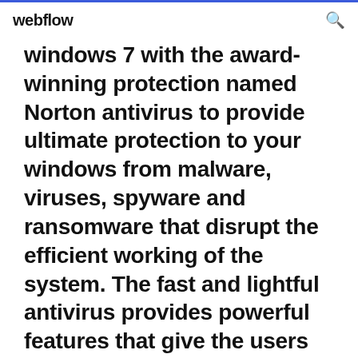webflow
windows 7 with the award-winning protection named Norton antivirus to provide ultimate protection to your windows from malware, viruses, spyware and ransomware that disrupt the efficient working of the system. The fast and lightful antivirus provides powerful features that give the users the
The Best Free Antivirus Protection for 2020 - ...
The Best Antivirus Protection for 2020 | PCMag
14/05/2020 · The Best Antivirus Protection for